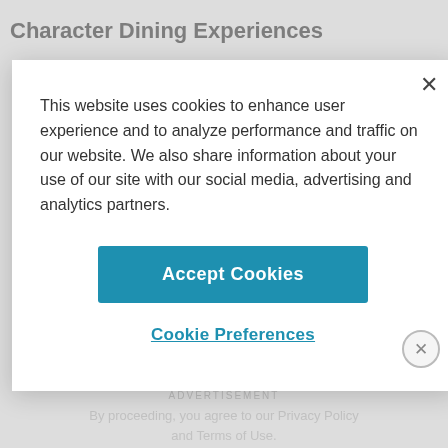Character Dining Experiences
This website uses cookies to enhance user experience and to analyze performance and traffic on our website. We also share information about your use of our site with our social media, advertising and analytics partners.
Accept Cookies
Cookie Preferences
ADVERTISEMENT
By proceeding, you agree to our Privacy Policy and Terms of Use.